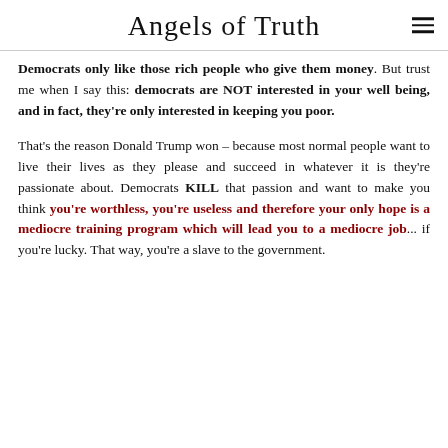Angels of Truth
Democrats only like those rich people who give them money. But trust me when I say this: democrats are NOT interested in your well being, and in fact, they're only interested in keeping you poor.
That's the reason Donald Trump won – because most normal people want to live their lives as they please and succeed in whatever it is they're passionate about. Democrats KILL that passion and want to make you think you're worthless, you're useless and therefore your only hope is a mediocre training program which will lead you to a mediocre job... if you're lucky. That way, you're a slave to the government.